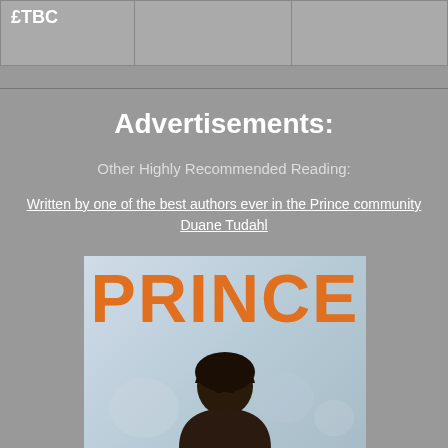| £TBC |  |  |
Advertisements:
Other Highly Recommended Reading:
Written by one of the best authors ever in the Prince community Duane Tudahl
[Figure (photo): Book cover showing the word PRINCE in large orange letters with a person's head and shoulders visible below, against a light blue/grey background]